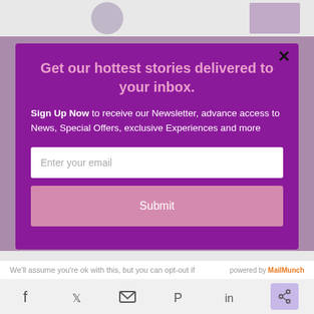[Figure (screenshot): Top bar with avatar circle and top-right image thumbnail]
Get our hottest stories delivered to your inbox.
Sign Up Now to receive our Newsletter, advance access to News, Special Offers, exclusive Experiences and more
[Figure (screenshot): Email input field with placeholder 'Enter your email']
[Figure (screenshot): Submit button]
We'll assume you're ok with this, but you can opt-out if
Social share bar with Facebook, Twitter, email, Pinterest, LinkedIn, and share icons